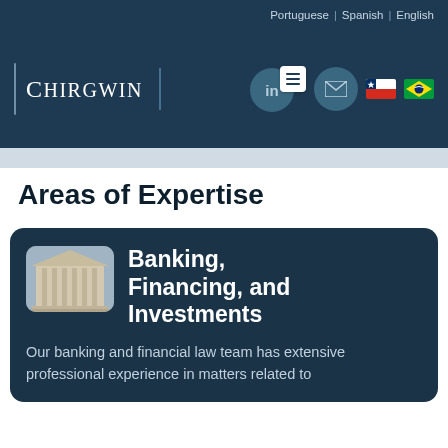Portuguese | Spanish | English
[Figure (logo): Chirgwin law firm logo with LinkedIn icon, menu icon, email icon, Chilean flag, and Brazilian flag in dark blue header]
Areas of Expertise
Banking, Financing, and Investments
Our banking and financial law team has extensive professional experience in matters related to